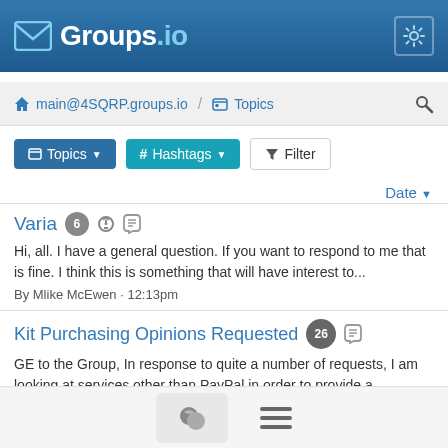Groups.io
main@4SQRP.groups.io / Topics
Topics # Hashtags Filter
Date
Varia 6
Hi, all. I have a general question. If you want to respond to me that is fine. I think this is something that will have interest to...
By Mlike McEwen · 12:13pm
Kit Purchasing Opinions Requested 26
GE to the Group, In response to quite a number of requests, I am looking at services other than PayPal in order to provide a...
By AG1P Ron · Aug 28